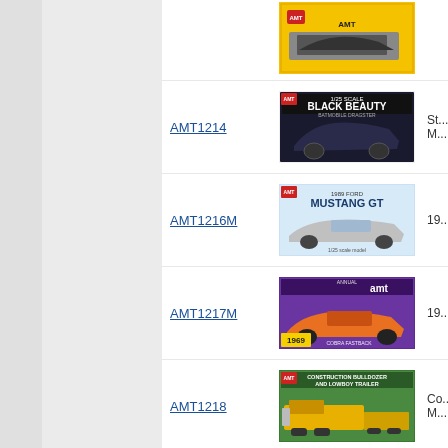AMT1214
[Figure (photo): Product box art for AMT1214 Black Beauty dragster model]
St... M...
AMT1216M
[Figure (photo): Product box art for AMT1216M 1989 Ford Mustang GT model]
19...
AMT1217M
[Figure (photo): Product box art for AMT1217M 1969 Cobra Fastback model]
19...
AMT1218
[Figure (photo): Product box art for AMT1218 Construction Bulldozer and Lowboy Trailer model]
Co... M...
AMT1219
[Figure (photo): Product box art for AMT1219 GMC Jimmy model]
19...